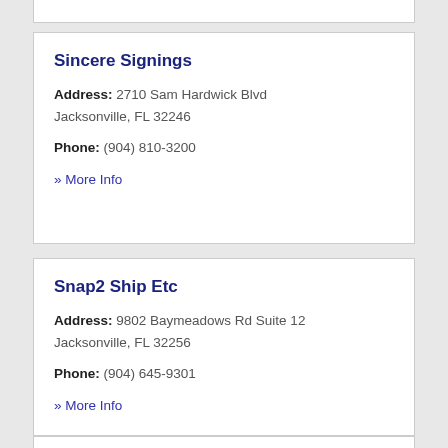Sincere Signings
Address: 2710 Sam Hardwick Blvd Jacksonville, FL 32246
Phone: (904) 810-3200
» More Info
Snap2 Ship Etc
Address: 9802 Baymeadows Rd Suite 12 Jacksonville, FL 32256
Phone: (904) 645-9301
» More Info